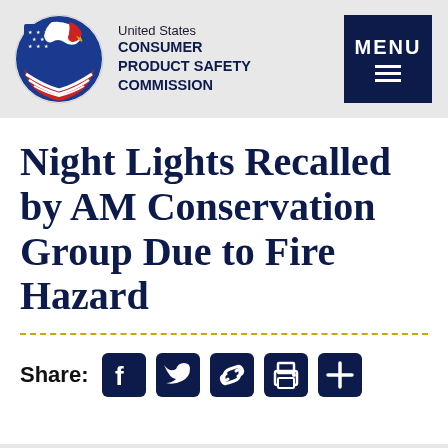United States CONSUMER PRODUCT SAFETY COMMISSION
Night Lights Recalled by AM Conservation Group Due to Fire Hazard
Share: